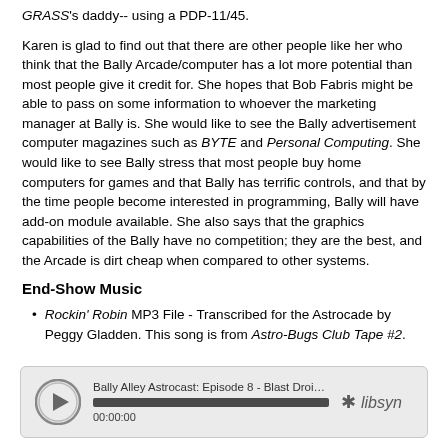GRASS's daddy-- using a PDP-11/45.
Karen is glad to find out that there are other people like her who think that the Bally Arcade/computer has a lot more potential than most people give it credit for. She hopes that Bob Fabris might be able to pass on some information to whoever the marketing manager at Bally is. She would like to see the Bally advertisement computer magazines such as BYTE and Personal Computing. She would like to see Bally stress that most people buy home computers for games and that Bally has terrific controls, and that by the time people become interested in programming, Bally will have add-on module available. She also says that the graphics capabilities of the Bally have no competition; they are the best, and the Arcade is dirt cheap when compared to other systems.
End-Show Music
Rockin' Robin MP3 File - Transcribed for the Astrocade by Peggy Gladden. This song is from Astro-Bugs Club Tape #2.
[Figure (other): Audio player widget showing 'Bally Alley Astrocast: Episode 8 - Blast Droids and Haunte...' with play button, progress bar at 00:00:00, and libsyn logo.]